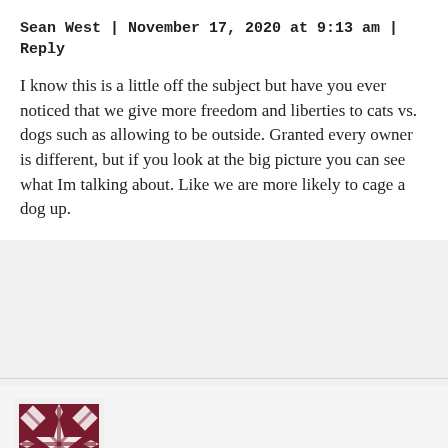Sean West | November 17, 2020 at 9:13 am | Reply
I know this is a little off the subject but have you ever noticed that we give more freedom and liberties to cats vs. dogs such as allowing to be outside. Granted every owner is different, but if you look at the big picture you can see what Im talking about. Like we are more likely to cage a dog up.
[Figure (illustration): Avatar image: dark red/maroon geometric pattern tile used as user avatar]
JUJU | November 17, 2020 at 9:52 am | Reply